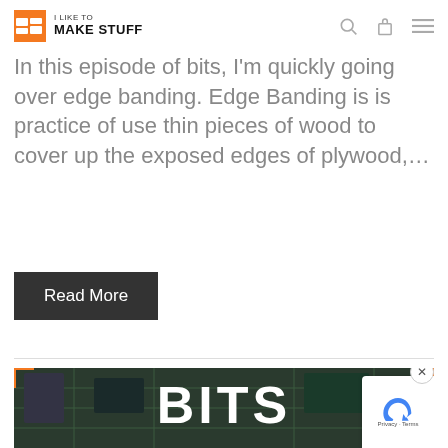I LIKE TO MAKE STUFF
In this episode of bits, I'm quickly going over edge banding. Edge Banding is is practice of use thin pieces of wood to cover up the exposed edges of plywood,...
Read More
[Figure (photo): Circuit board / Raspberry Pi with text overlay: BITS and subtitle ARDUINO VS. PI. Orange corner brackets decorate the image.]